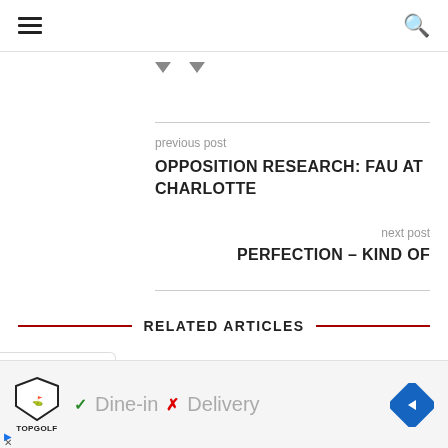previous post
OPPOSITION RESEARCH: FAU AT CHARLOTTE
next post
PERFECTION – KIND OF
RELATED ARTICLES
[Figure (other): Advertisement banner with Topgolf logo, checkmark Dine-in, X Delivery, navigation diamond icon]